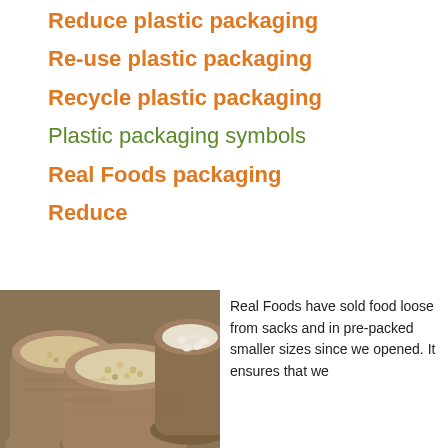Reduce plastic packaging
Re-use plastic packaging
Recycle plastic packaging
Plastic packaging symbols
Real Foods packaging
Reduce
[Figure (photo): Three burlap sacks filled with grains, beans and cashews]
Real Foods have sold food loose from sacks and in pre-packed smaller sizes since we opened. It ensures that we